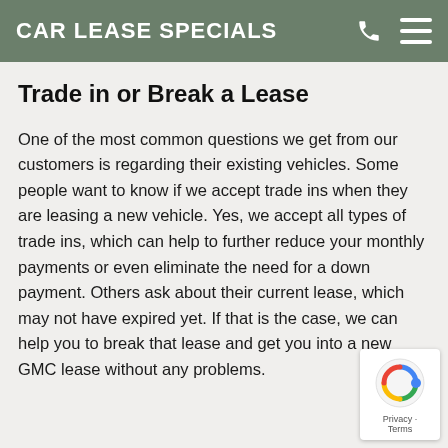CAR LEASE SPECIALS
Trade in or Break a Lease
One of the most common questions we get from our customers is regarding their existing vehicles. Some people want to know if we accept trade ins when they are leasing a new vehicle. Yes, we accept all types of trade ins, which can help to further reduce your monthly payments or even eliminate the need for a down payment. Others ask about their current lease, which may not have expired yet. If that is the case, we can help you to break that lease and get you into a new GMC lease without any problems.
[Figure (logo): reCAPTCHA badge with Google logo and Privacy - Terms text]